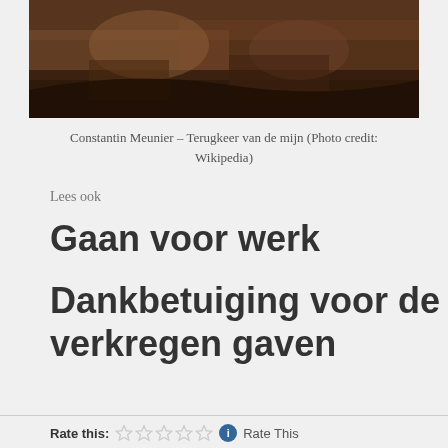[Figure (photo): Painting by Constantin Meunier - Terugkeer van de mijn, showing dark earthy tones with a figure]
Constantin Meunier – Terugkeer van de mijn (Photo credit: Wikipedia)
Lees ook
Gaan voor werk
Dankbetuiging voor de verkregen gaven
Rate this: Rate This